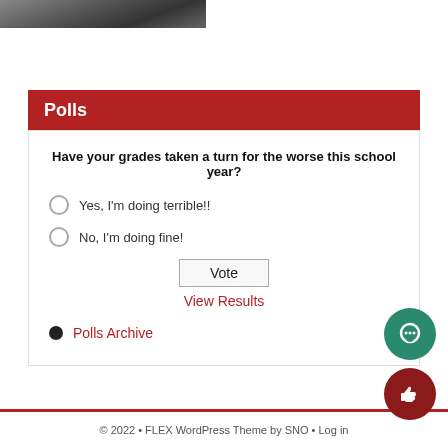[Figure (photo): Partial photo strip at top left, cropped image]
Polls
Have your grades taken a turn for the worse this school year?
Yes, I'm doing terrible!!
No, I'm doing fine!
Vote
View Results
Polls Archive
© 2022 • FLEX WordPress Theme by SNO • Log in